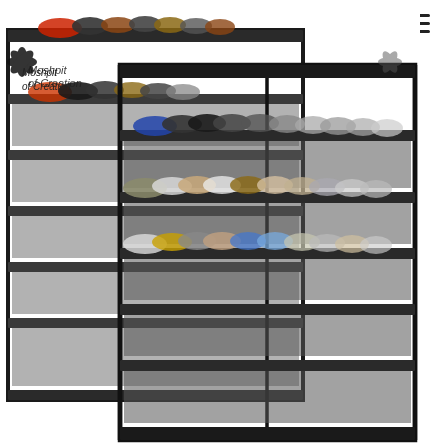[Figure (photo): Product photo showing two black metal shoe racks with fabric shelves. The racks are multi-tier (approximately 8-9 shelves each) and are positioned slightly offset from one another. The front rack displays shoes on the upper shelves including sneakers and casual shoes. Both racks have a black metal frame with dark gray/black fabric shelf surfaces. A watermark reading 'Moshpit of Creation' appears in the upper left area of the image.]
Moshpit of Creation